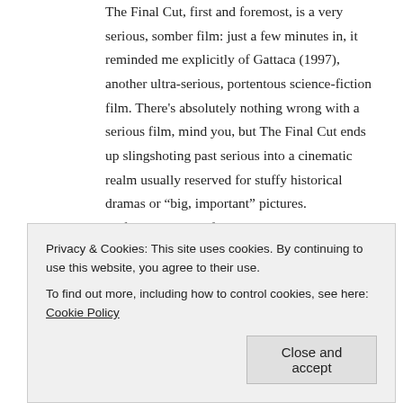The Final Cut, first and foremost, is a very serious, somber film: just a few minutes in, it reminded me explicitly of Gattaca (1997), another ultra-serious, portentous science-fiction film. There's absolutely nothing wrong with a serious film, mind you, but The Final Cut ends up slingshoting past serious into a cinematic realm usually reserved for stuffy historical dramas or “big, important” pictures. Unfortunately, the film never becomes quite “big enough” to make these affectations seem anything more than pretentious. It’s kind of like getting Brian Eno to score a Roger Corman boobs-and-aliens-in-space epic: adding gravitas to a pulpy storyline doesn’t make the subject inherently weighty. Likewise, The Final Cut seems
Privacy & Cookies: This site uses cookies. By continuing to use this website, you agree to their use.
To find out more, including how to control cookies, see here: Cookie Policy
Close and accept